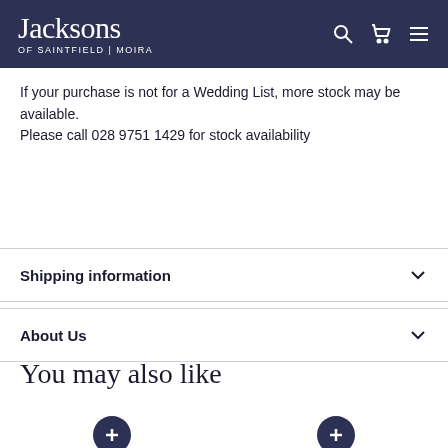Jacksons OF SAINTFIELD | MOIRA
If your purchase is not for a Wedding List, more stock may be available.
Please call 028 9751 1429 for stock availability
Shipping information
About Us
You may also like